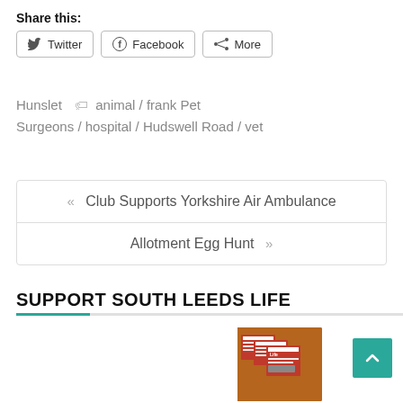Share this:
[Figure (infographic): Share buttons: Twitter, Facebook, More]
Hunslet  🏷 animal / frank Pet Surgeons / hospital / Hudswell Road / vet
« Club Supports Yorkshire Air Ambulance
Allotment Egg Hunt »
SUPPORT SOUTH LEEDS LIFE
[Figure (infographic): Red advertisement box: Support independent community news! Click here to become a £1-a-week subsciber and get our monthly newspaper delivered to your door. With image of South Leeds Life newspapers.]